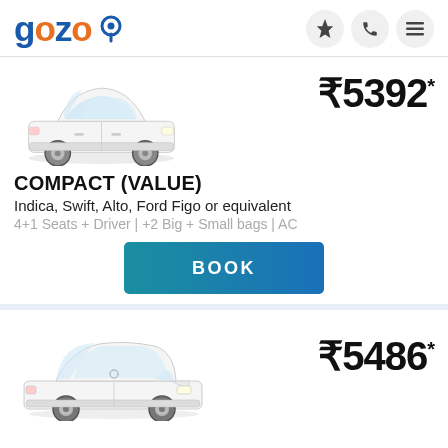[Figure (logo): Gozo logo with blue text and orange 'oz', location pin icon]
[Figure (photo): White compact hatchback car (Indica/Swift/Alto/Ford Figo type) front 3/4 view]
₹5392*
COMPACT (VALUE)
Indica, Swift, Alto, Ford Figo or equivalent
4+1 Seats + Driver | +2 Big + Small bags | AC
[Figure (other): BOOK button - teal/blue gradient rectangular button]
[Figure (photo): White sedan car (Toyota Etios type) front 3/4 view]
₹5486*